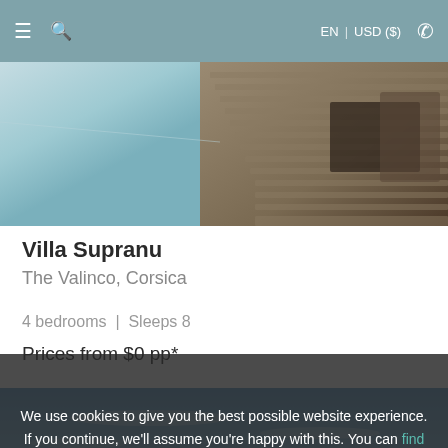≡  🔍   EN | USD ($)  📞
[Figure (photo): Luxury villa pool deck with infinity pool and outdoor lounge area, wooden decking, bottles and glassware on a table, wicker chair visible]
Villa Supranu
The Valinco, Corsica
4 bedrooms  |  Sleeps 8
Prices from $0 pp*
[Figure (photo): Luxury villa exterior with blue sky, outdoor terrace and lounge area visible]
We use cookies to give you the best possible website experience. If you continue, we'll assume you're happy with this. You can find out more here.
[close]